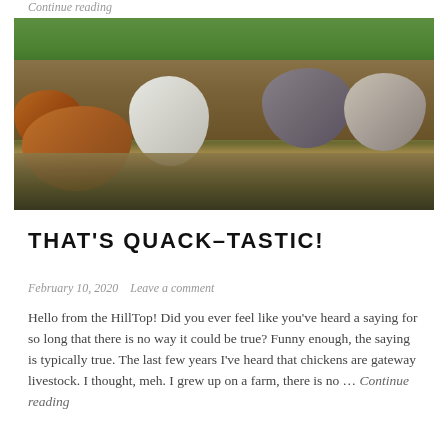Continue reading
[Figure (photo): Four ducks (brown, white, grey, speckled) near a muddy puddle on green grass]
THAT'S QUACK-TASTIC!
February 10, 2020   Leave a comment
Hello from the HillTop! Did you ever feel like you've heard a saying for so long that there is no way it could be true? Funny enough, the saying is typically true. The last few years I've heard that chickens are gateway livestock. I thought, meh. I grew up on a farm, there is no … Continue reading